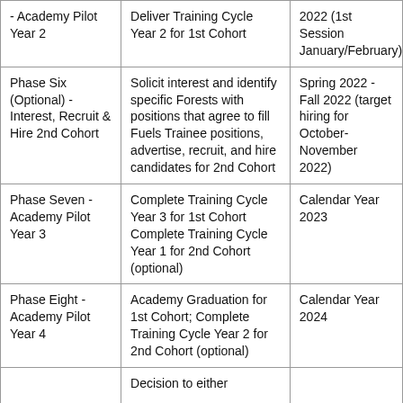| - Academy Pilot Year 2 | Deliver Training Cycle Year 2 for 1st Cohort | 2022 (1st Session January/February) |
| Phase Six (Optional) - Interest, Recruit & Hire 2nd Cohort | Solicit interest and identify specific Forests with positions that agree to fill Fuels Trainee positions, advertise, recruit, and hire candidates for 2nd Cohort | Spring 2022 - Fall 2022 (target hiring for October-November 2022) |
| Phase Seven - Academy Pilot Year 3 | Complete Training Cycle Year 3 for 1st Cohort Complete Training Cycle Year 1 for 2nd Cohort (optional) | Calendar Year 2023 |
| Phase Eight - Academy Pilot Year 4 | Academy Graduation for 1st Cohort; Complete Training Cycle Year 2 for 2nd Cohort (optional) | Calendar Year 2024 |
|  | Decision to either |  |